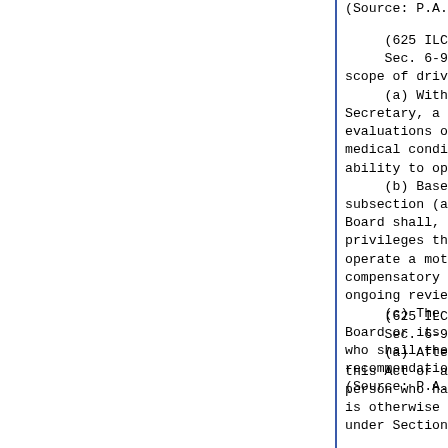(Source: P.A. 87-1249.)
(625 ILCS 5/6-905)(from Ch. 9
    Sec. 6-905. Medical evaluatio
scope of driving privileges; repo
    (a) Within the scope of the
Secretary, a function of the Bo
evaluations of the individual un
medical conditions exist that
ability to operate a motor vehicl
    (b) Based on the medical eval
subsection (a) and in accordance
Board shall, among other things,
privileges that would enable th
operate a motor vehicle safely,
compensatory aids and devices m
ongoing review or evaluation.
    (c) The findings, determinat
Board or its subdivisions shall
who shall then take the action
recommendation.
(Source: P.A. 87-1249.)
(625 ILCS 5/6-906)(from Ch. 9
    Sec. 6-906. Request for a hea
    (a) After utilizing all poss
this Act or any regulation prom
person who has their driver's lic
is otherwise denied a license ha
under Section 2-118 of this Co